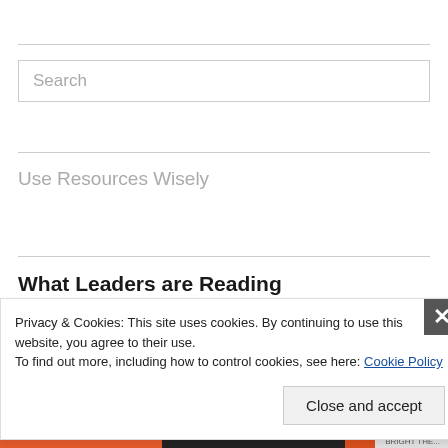[Figure (other): Search input box with placeholder text 'Search']
Use Resources Wisely
What Leaders are Reading
Privacy & Cookies: This site uses cookies. By continuing to use this website, you agree to their use.
To find out more, including how to control cookies, see here: Cookie Policy
Close and accept